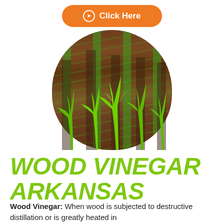[Figure (other): Orange rounded button with circle arrow icon and text 'Click Here']
[Figure (photo): Circular/teardrop-shaped photo showing rows of young green corn seedlings growing in dark red-brown soil]
WOOD VINEGAR ARKANSAS
Wood Vinegar: When wood is subjected to destructive distillation or is greatly heated in